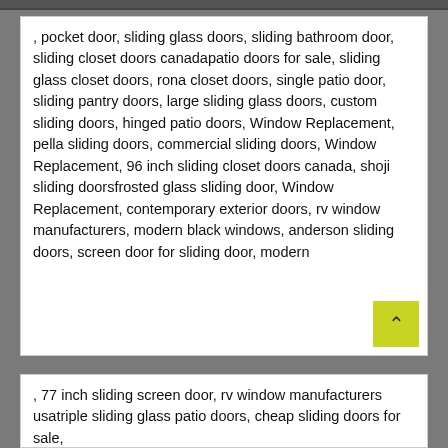, pocket door, sliding glass doors, sliding bathroom door, sliding closet doors canadapatio doors for sale, sliding glass closet doors, rona closet doors, single patio door, sliding pantry doors, large sliding glass doors, custom sliding doors, hinged patio doors, Window Replacement, pella sliding doors, commercial sliding doors, Window Replacement, 96 inch sliding closet doors canada, shoji sliding doorsfrosted glass sliding door, Window Replacement, contemporary exterior doors, rv window manufacturers, modern black windows, anderson sliding doors, screen door for sliding door, modern
, 77 inch sliding screen door, rv window manufacturers usatriple sliding glass patio doors, cheap sliding doors for sale,